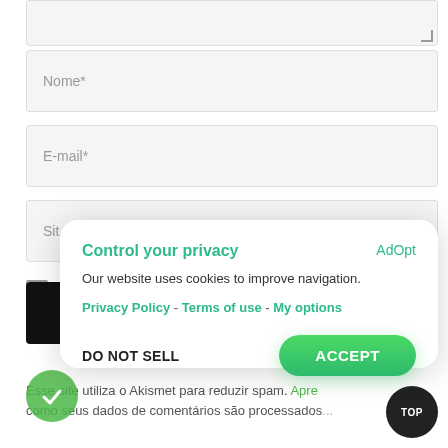[Figure (screenshot): Web form fields: textarea at top, Nome* input, E-mail* input, Site (partially visible) input]
Salvar... vez que...
que
[Figure (screenshot): Cookie consent modal overlay: 'Control your privacy' title, AdOpt link, description text about cookies, Privacy Policy, Terms of use, My options links, DO NOT SELL and ACCEPT buttons]
Esse site utiliza o Akismet para reduzir spam. Apre... como seus dados de comentários são processados...